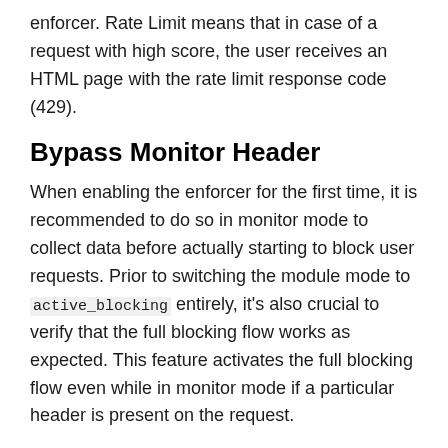enforcer. Rate Limit means that in case of a request with high score, the user receives an HTML page with the rate limit response code (429).
Bypass Monitor Header
When enabling the enforcer for the first time, it is recommended to do so in monitor mode to collect data before actually starting to block user requests. Prior to switching the module mode to active_blocking entirely, it's also crucial to verify that the full blocking flow works as expected. This feature activates the full blocking flow even while in monitor mode if a particular header is present on the request.
Client IP Extraction
The real client IP is included in the information that the enforcer gathers and sends. When the request passes through a proxy or a load balancer before reaching the